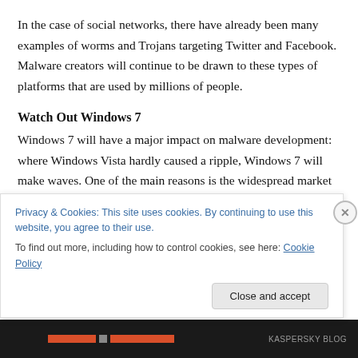In the case of social networks, there have already been many examples of worms and Trojans targeting Twitter and Facebook. Malware creators will continue to be drawn to these types of platforms that are used by millions of people.
Watch Out Windows 7
Windows 7 will have a major impact on malware development: where Windows Vista hardly caused a ripple, Windows 7 will make waves. One of the main reasons is the widespread market acceptance of this new
Privacy & Cookies: This site uses cookies. By continuing to use this website, you agree to their use.
To find out more, including how to control cookies, see here: Cookie Policy